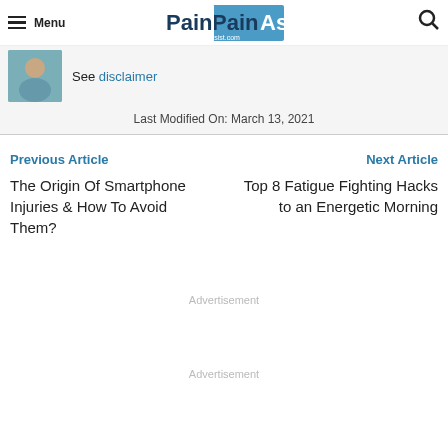Menu | PainAssist ePainAssist.com | Search
See disclaimer
Last Modified On: March 13, 2021
Previous Article
The Origin Of Smartphone Injuries & How To Avoid Them?
Next Article
Top 8 Fatigue Fighting Hacks to an Energetic Morning
Advertisement
Advertisement